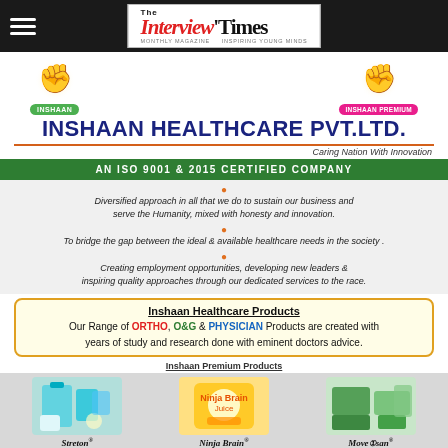The Interview Times
[Figure (logo): Inshaan Healthcare Pvt. Ltd. logo with two fist icons, green INSHAAN badge and pink INSHAAN PREMIUM badge]
INSHAAN HEALTHCARE PVT.LTD.
Caring Nation With Innovation
AN ISO 9001 & 2015 CERTIFIED COMPANY
Diversified approach in all that we do to sustain our business and serve the Humanity, mixed with honesty and innovation.
To bridge the gap between the ideal & available healthcare needs in the society .
Creating employment opportunities, developing new leaders & inspiring quality approaches through our dedicated services to the race.
Inshaan Healthcare Products
Our Range of ORTHO, O&G & PHYSICIAN Products are created with years of study and research done with eminent doctors advice.
Inshaan Premium Products
[Figure (photo): Product photos: Streton, Ninja Brain, Movesan pharmaceutical products]